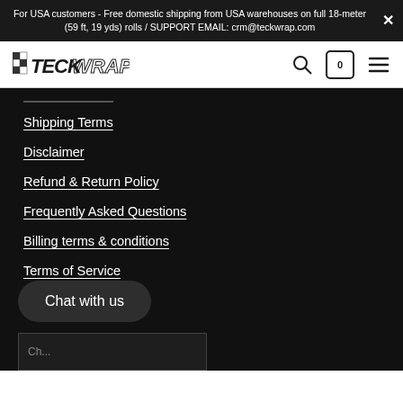For USA customers - Free domestic shipping from USA warehouses on full 18-meter (59 ft, 19 yds) rolls / SUPPORT EMAIL: crm@teckwrap.com
[Figure (logo): TeckWrap logo with stylized checkered flag icon and bold italic text]
Shipping Terms
Disclaimer
Refund & Return Policy
Frequently Asked Questions
Billing terms & conditions
Terms of Service
Refund policy
Chat with us